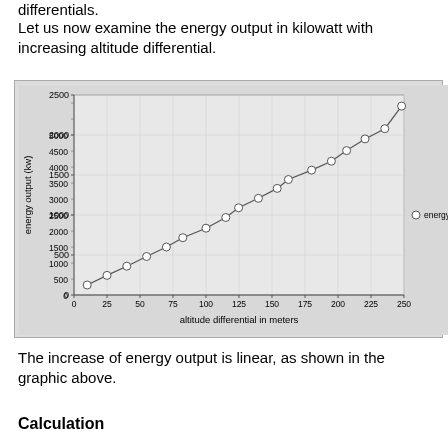differentials.
Let us now examine the energy output in kilowatt with increasing altitude differential.
[Figure (line-chart): ]
The increase of energy output is linear, as shown in the graphic above.
Calculation